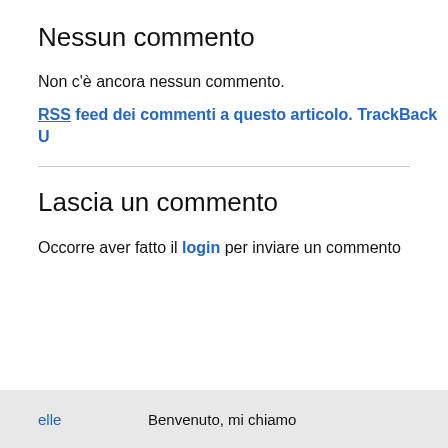Nessun commento
Non c'è ancora nessun commento.
RSS feed dei commenti a questo articolo. TrackBack U
Lascia un commento
Occorre aver fatto il login per inviare un commento
elle   Benvenuto, mi chiamc